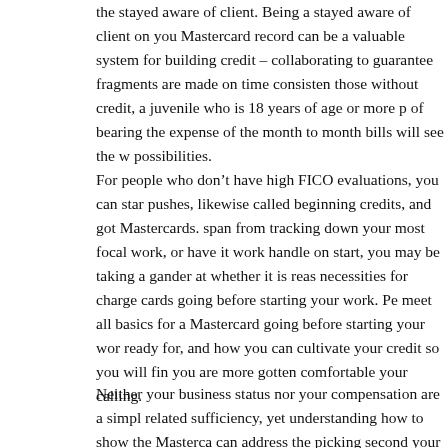the stayed aware of client. Being a stayed aware of client on you Mastercard record can be a valuable system for building credit - collaborating to guarantee fragments are made on time consisten those without credit, a juvenile who is 18 years of age or more p of bearing the expense of the month to month bills will see the w possibilities.
For people who don't have high FICO evaluations, you can star pushes, likewise called beginning credits, and got Mastercards. span from tracking down your most focal work, or have it work handle on start, you may be taking a gander at whether it is reas necessities for charge cards going before starting your work. Pe meet all basics for a Mastercard going before starting your wor ready for, and how you can cultivate your credit so you will fin you are more gotten comfortable your calling.
Neither your business status nor your compensation are a simpl related sufficiency, yet understanding how to show the Masterca can address the picking second your application, and impact ho